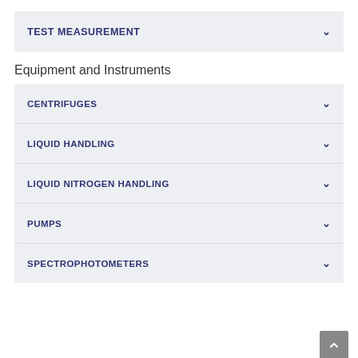TEST MEASUREMENT
Equipment and Instruments
CENTRIFUGES
LIQUID HANDLING
LIQUID NITROGEN HANDLING
PUMPS
SPECTROPHOTOMETERS